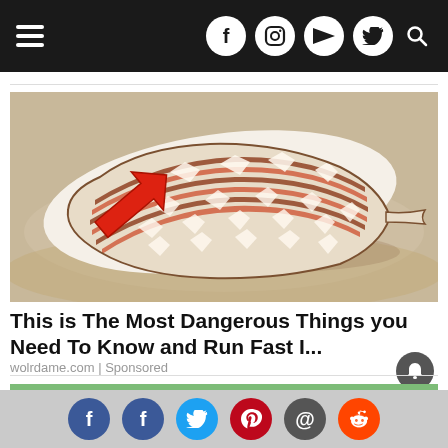Navigation header with hamburger menu and social icons: Facebook, Instagram, YouTube, Twitter, Search
[Figure (photo): A cone snail shell on sandy beach with a large red arrow pointing to it]
This is The Most Dangerous Things you Need To Know and Run Fast I...
wolrdame.com | Sponsored
[Figure (photo): Partial image of feet on colorful background (second article teaser)]
Social sharing icons: Facebook, Facebook, Twitter, Pinterest, Email, Reddit